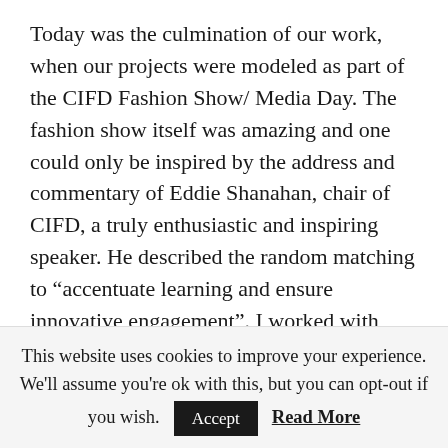Today was the culmination of our work, when our projects were modeled as part of the CIFD Fashion Show/ Media Day. The fashion show itself was amazing and one could only be inspired by the address and commentary of Eddie Shanahan, chair of CIFD, a truly enthusiastic and inspiring speaker. He described the random matching to “accentuate learning and ensure innovative engagement”. I worked with Michelle Kearns, a milliner from Tuam.
This website uses cookies to improve your experience. We'll assume you're ok with this, but you can opt-out if you wish. Accept Read More